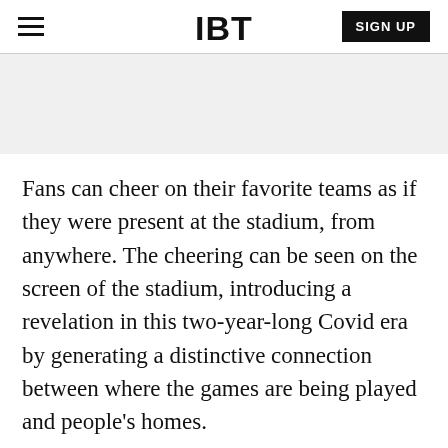IBT | SIGN UP
Fans can cheer on their favorite teams as if they were present at the stadium, from anywhere. The cheering can be seen on the screen of the stadium, introducing a revelation in this two-year-long Covid era by generating a distinctive connection between where the games are being played and people's homes.